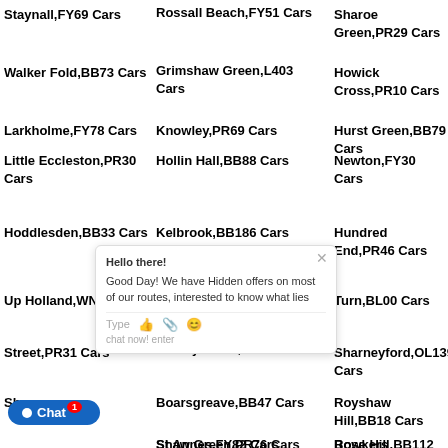Staynall,FY69 Cars
Rossall Beach,FY51 Cars
Sharoe Green,PR29 Cars
Walker Fold,BB73 Cars
Grimshaw Green,L403 Cars
Howick Cross,PR10 Cars
Larkholme,FY78 Cars
Knowley,PR69 Cars
Hurst Green,BB79 Cars
Little Eccleston,PR30 Cars
Hollin Hall,BB88 Cars
Newton,FY30 Cars
Hoddlesden,BB33 Cars
Kelbrook,BB186 Cars
Hundred End,PR46 Cars
Up Holland,WN80 Cars
Pleckgate,BB18 Cars
Turn,BL00 Cars
Street,PR31 Cars
Stoneyholme,BB120 Cars
Sharneyford,OL139 Cars
Sherw... Cars
Boarsgreave,BB47 Cars
Royshaw Hill,BB18 Cars
Hurst... Cars
Shaw Green,PR76 Cars
Rose Hill,BB112 Cars
Winma... Cars
St Annes,FY82 Cars
Bowkers Green,L396 Cars
Payth... Cars
Sough,BB32 Cars
Dam Side,PR36 Cars
Pi... BB... Cars
Norcross,FY53 Cars
Standen Hall,BB71 Cars
Burnley Wood,BB113...